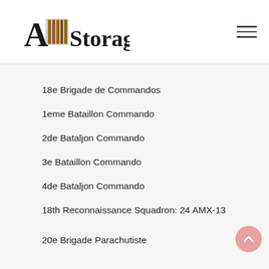A&I Storage
18e Brigade de Commandos
1eme Bataillon Commando
2de Bataljon Commando
3e Bataillon Commando
4de Bataljon Commando
18th Reconnaissance Squadron: 24 AMX-13
24e Paracommando Anti-Tank Battery: 12 125mm RR
12e Paracommando Artillery Regiment: 24 x 25pdr
40th Engineer Company
18th Supply and Transport Company
18th Medical Company
20e Brigade Parachutiste